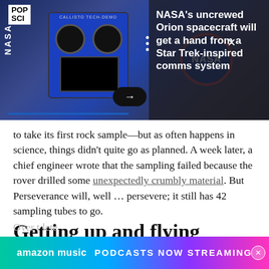[Figure (photo): NASA spacecraft interior showing a blue CALLISTO TECH-DEMO device with circular ports and a black screen, a NASA logo badge visible on equipment in background, dark overlay on right side with article headline]
NASA's uncrewed Orion spacecraft will get a hand from a Star Trek-inspired comms system
to take its first rock sample—but as often happens in science, things didn't quite go as planned. A week later, a chief engineer wrote that the sampling failed because the rover drilled some unexpectedly crumbly material. But Perseverance will, well … persevere; it still has 42 sampling tubes to go.
Getting up and flying
Over t…lete
[Figure (other): Amazon Music advertisement banner: PODCASTS NOW STREAMING]